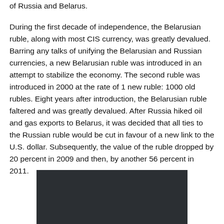of Russia and Belarus.
During the first decade of independence, the Belarusian ruble, along with most CIS currency, was greatly devalued. Barring any talks of unifying the Belarusian and Russian currencies, a new Belarusian ruble was introduced in an attempt to stabilize the economy. The second ruble was introduced in 2000 at the rate of 1 new ruble: 1000 old rubles. Eight years after introduction, the Belarusian ruble faltered and was greatly devalued. After Russia hiked oil and gas exports to Belarus, it was decided that all ties to the Russian ruble would be cut in favour of a new link to the U.S. dollar. Subsequently, the value of the ruble dropped by 20 percent in 2009 and then, by another 56 percent in 2011.
[Figure (photo): Dark image, mostly dark gray/black background, appears to be a photo placeholder or partially loaded image.]